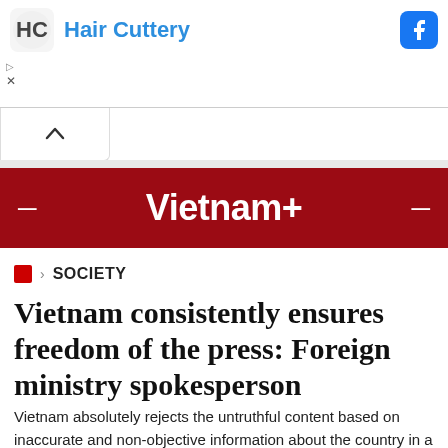[Figure (screenshot): Hair Cuttery advertisement banner with logo, brand name in blue text, and Facebook button]
Vietnam+
🏠 › SOCIETY
Vietnam consistently ensures freedom of the press: Foreign ministry spokesperson
Vietnam absolutely rejects the untruthful content based on inaccurate and non-objective information about the country in a report released by the Committee to Protect Journalists (CPJ), foreign ministry spokesperson Le Thi Thu Hang has